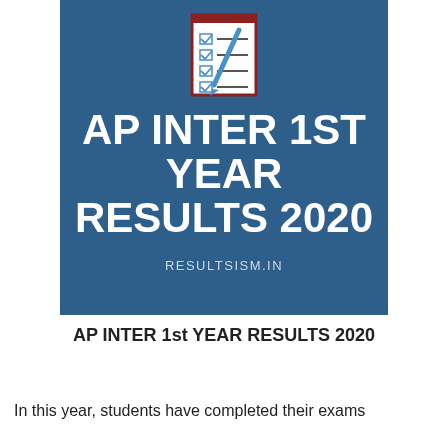[Figure (illustration): Blue banner image with checklist icon at the top, large white bold text reading 'AP INTER 1ST YEAR RESULTS 2020', and URL 'RESULTSISM.IN' below the title]
AP INTER 1st YEAR RESULTS 2020
In this year, students have completed their exams